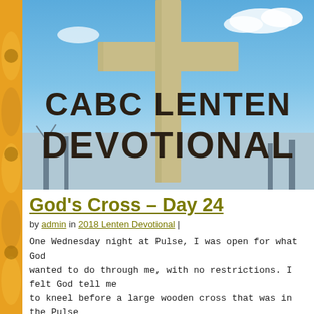[Figure (photo): Photo of a large wooden cross against a blue sky with text overlay reading 'CABC LENTEN DEVOTIONAL']
God's Cross – Day 24
by admin in 2018 Lenten Devotional |
One Wednesday night at Pulse, I was open for what God wanted to do through me, with no restrictions. I felt God tell me to kneel before a large wooden cross that was in the Pulse
Read more...